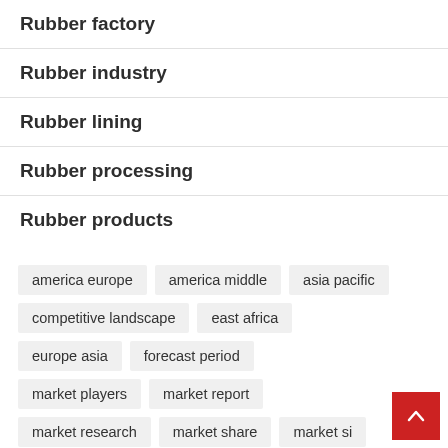Rubber factory
Rubber industry
Rubber lining
Rubber processing
Rubber products
america europe  america middle  asia pacific  competitive landscape  east africa  europe asia  forecast period  market players  market report  market research  market share  market si...  middle east  north america  united states